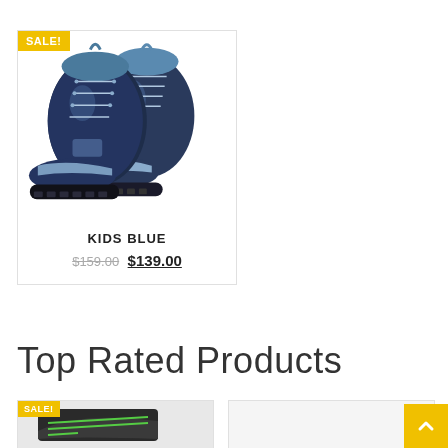[Figure (photo): Product card showing dark navy/black kids hiking boots with grey accents. Has a yellow SALE! badge in upper left corner. Product name KIDS BLUE shown below image with original price $159.00 struck through and sale price $139.00 underlined.]
Top Rated Products
[Figure (photo): Bottom-left product card with SALE! badge, showing green and black shoe/sneaker, partially visible.]
[Figure (photo): Bottom-right product card, partially visible, white/light colored background.]